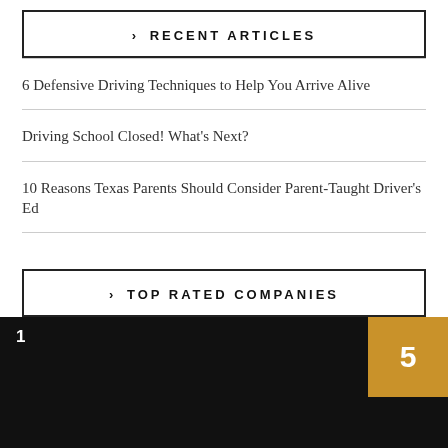> RECENT ARTICLES
6 Defensive Driving Techniques to Help You Arrive Alive
Driving School Closed! What's Next?
10 Reasons Texas Parents Should Consider Parent-Taught Driver's Ed
> TOP RATED COMPANIES
[Figure (other): Top rated company card with black background, rank number 1 in top left, and gold score box showing 5 in top right corner]